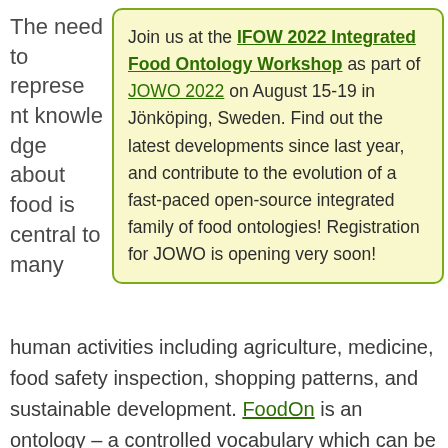The need to represent knowledge about food is central to many
Join us at the IFOW 2022 Integrated Food Ontology Workshop as part of JOWO 2022 on August 15-19 in Jönköping, Sweden. Find out the latest developments since last year, and contribute to the evolution of a fast-paced open-source integrated family of food ontologies! Registration for JOWO is opening very soon!
human activities including agriculture, medicine, food safety inspection, shopping patterns, and sustainable development. FoodOn is an ontology – a controlled vocabulary which can be used by both people and computers – to name all parts of animals, plants, and fungai which can bear a food role for humans and